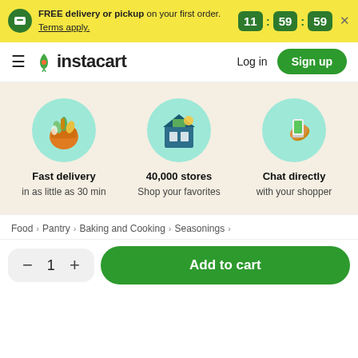FREE delivery or pickup on your first order. Terms apply. 11:59:59
instacart
Log in
Sign up
[Figure (illustration): Grocery bag with vegetables icon in circle]
Fast delivery in as little as 30 min
[Figure (illustration): Store front icon in circle]
40,000 stores Shop your favorites
[Figure (illustration): Hand holding phone icon in circle]
Chat directly with your shopper
Food > Pantry > Baking and Cooking > Seasonings >
1
Add to cart